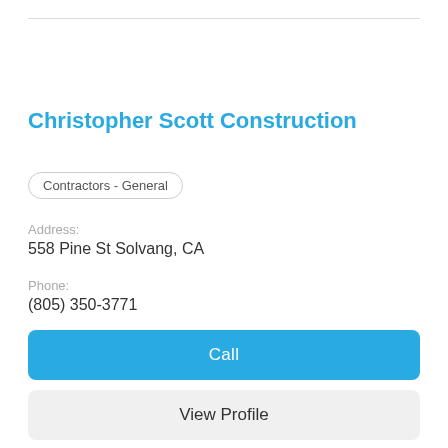Christopher Scott Construction
Contractors - General
Address:
558 Pine St Solvang, CA
Phone:
(805) 350-3771
Call
View Profile
[Figure (other): Gray placeholder thumbnail image with a grid of dots]